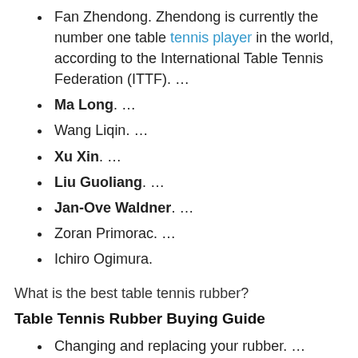Fan Zhendong. Zhendong is currently the number one table tennis player in the world, according to the International Table Tennis Federation (ITTF). …
Ma Long. …
Wang Liqin. …
Xu Xin. …
Liu Guoliang. …
Jan-Ove Waldner. …
Zoran Primorac. …
Ichiro Ogimura.
What is the best table tennis rubber?
Table Tennis Rubber Buying Guide
Changing and replacing your rubber. …